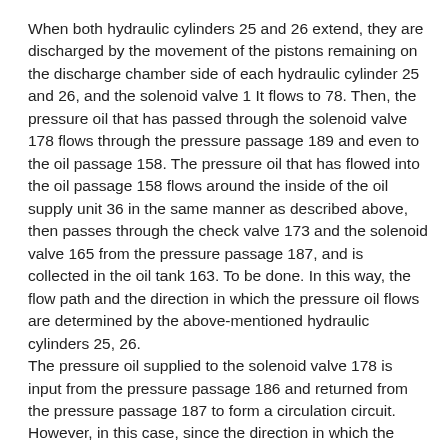When both hydraulic cylinders 25 and 26 extend, they are discharged by the movement of the pistons remaining on the discharge chamber side of each hydraulic cylinder 25 and 26, and the solenoid valve 1 It flows to 78. Then, the pressure oil that has passed through the solenoid valve 178 flows through the pressure passage 189 and even to the oil passage 158. The pressure oil that has flowed into the oil passage 158 flows around the inside of the oil supply unit 36 in the same manner as described above, then passes through the check valve 173 and the solenoid valve 165 from the pressure passage 187, and is collected in the oil tank 163. To be done. In this way, the flow path and the direction in which the pressure oil flows are determined by the above-mentioned hydraulic cylinders 25, 26.
The pressure oil supplied to the solenoid valve 178 is input from the pressure passage 186 and returned from the pressure passage 187 to form a circulation circuit. However, in this case, since the direction in which the solenoid valve 178 connected to the hydraulic cylinders 25 and 26 is switched is opposite to that described above, the flow path of the pressure oil supplied to the hydraulic